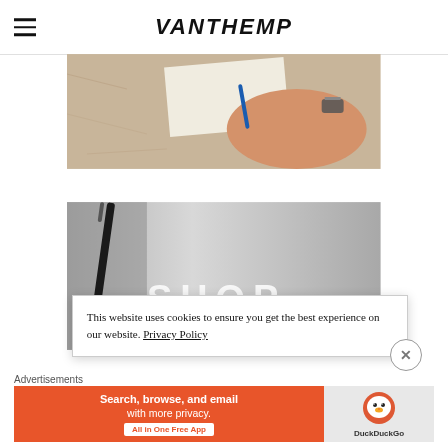VANTHEMP
[Figure (photo): Close-up photo of a hand writing on paper on a granite surface, pen and wristwatch visible]
[Figure (photo): Blurred grey background photo with a dark pen/brush in foreground and partial white text 'SHOP' visible]
This website uses cookies to ensure you get the best experience on our website. Privacy Policy
Advertisements
[Figure (infographic): DuckDuckGo advertisement banner: orange left side with text 'Search, browse, and email with more privacy. All in One Free App'; white/grey right side with DuckDuckGo logo]